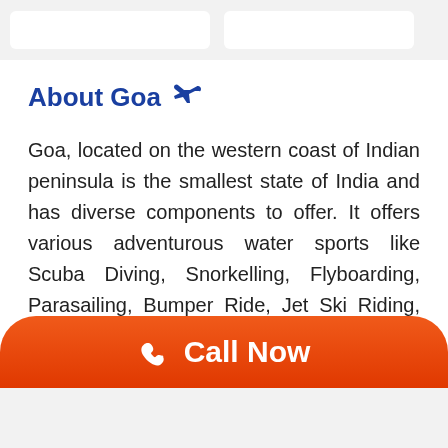About Goa ✈
Goa, located on the western coast of Indian peninsula is the smallest state of India and has diverse components to offer. It offers various adventurous water sports like Scuba Diving, Snorkelling, Flyboarding, Parasailing, Bumper Ride, Jet Ski Riding, Banana Boat Ride, Bungee Jumping etc. at amazing beaches of Goa. It provides beautiful scenery for sight-seeing, places for trekking and fun festivals like a carnival, Feast of Saint Francis Xavier, Three kings feast, Grape Escapade, Sao Joao fest,
Call Now